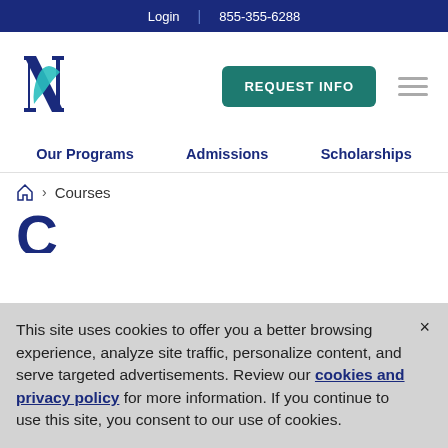Login | 855-355-6288
[Figure (logo): University logo with stylized N letters in navy and teal]
REQUEST INFO
Our Programs | Admissions | Scholarships
Home > Courses
This site uses cookies to offer you a better browsing experience, analyze site traffic, personalize content, and serve targeted advertisements. Review our cookies and privacy policy for more information. If you continue to use this site, you consent to our use of cookies.